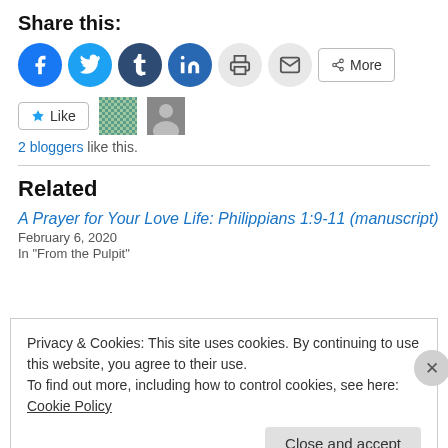Share this:
[Figure (infographic): Row of social share buttons: Facebook (blue circle), Twitter (light blue circle), Tumblr (dark blue circle), LinkedIn (blue circle), Print (gray circle), Email (gray circle), and a More button with share icon.]
[Figure (infographic): Like button with star icon, followed by two small avatar thumbnails (mosaic pattern and a photo).]
2 bloggers like this.
Related
A Prayer for Your Love Life: Philippians 1:9-11 (manuscript)
February 6, 2020
In "From the Pulpit"
Privacy & Cookies: This site uses cookies. By continuing to use this website, you agree to their use.
To find out more, including how to control cookies, see here: Cookie Policy